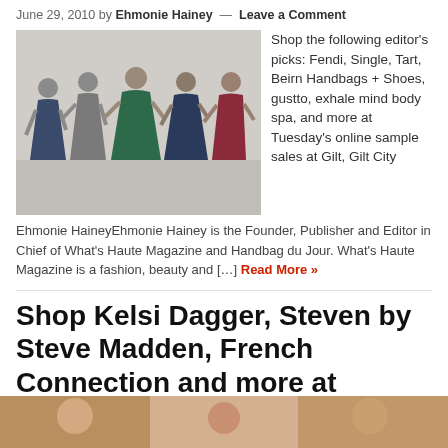June 29, 2010 by Ehmonie Hainey — Leave a Comment
[Figure (photo): Five women in colorful dresses posing dynamically against a grey background]
Shop the following editor's picks: Fendi, Single, Tart, Beirn Handbags + Shoes, gustto, exhale mind body spa, and more at Tuesday's online sample sales at Gilt, Gilt City
Ehmonie HaineyEhmonie Hainey is the Founder, Publisher and Editor in Chief of What's Haute Magazine and Handbag du Jour. What's Haute Magazine is a fashion, beauty and […] Read More »
Shop Kelsi Dagger, Steven by Steve Madden, French Connection and more at Wednesday's online sample sales
June 23, 2010 by Ehmonie Hainey — 2 Comments
[Figure (photo): Partial view of bottom image strip showing fashion photography]